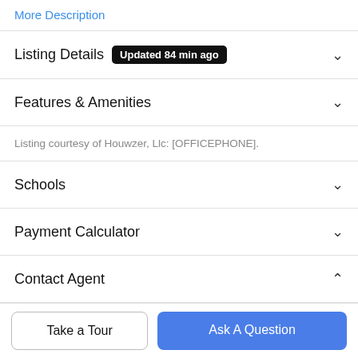More Description
Listing Details  Updated 84 min ago
Features & Amenities
Listing courtesy of Houwzer, Llc: [OFFICEPHONE].
Schools
Payment Calculator
Contact Agent
Take a Tour
Ask A Question